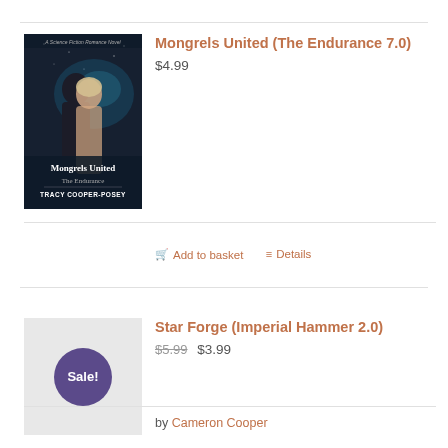[Figure (photo): Book cover for Mongrels United (The Endurance 7.0) by Tracy Cooper-Posey showing two people embracing against a sci-fi background with stars]
Mongrels United (The Endurance 7.0)
$4.99
Add to basket   Details
[Figure (other): Gray placeholder image with a purple Sale! badge circle]
Star Forge (Imperial Hammer 2.0)
$5.99  $3.99
by Cameron Cooper